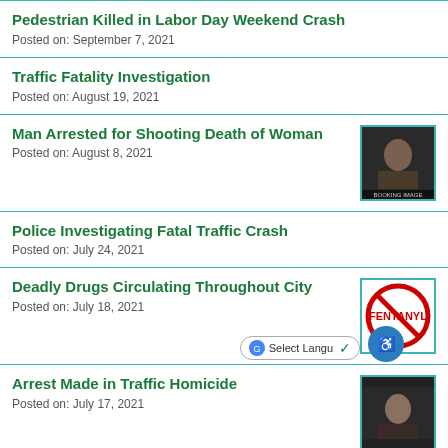Pedestrian Killed in Labor Day Weekend Crash
Posted on: September 7, 2021
Traffic Fatality Investigation
Posted on: August 19, 2021
Man Arrested for Shooting Death of Woman
Posted on: August 8, 2021
[Figure (photo): Booking image of a man, dark background, labeled BOOKING IMAGE]
Police Investigating Fatal Traffic Crash
Posted on: July 24, 2021
Deadly Drugs Circulating Throughout City
Posted on: July 18, 2021
[Figure (photo): Fentanyl warning sign - red circle with FENTANYL text crossed out]
Arrest Made in Traffic Homicide
Posted on: July 17, 2021
[Figure (photo): Booking image of a person, dark background]